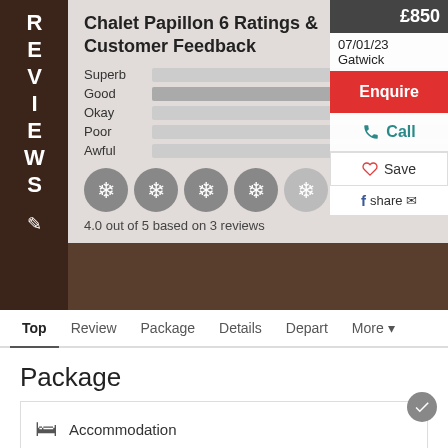Chalet Papillon 6 Ratings & Customer Feedback
| Rating | Count |
| --- | --- |
| Superb | 0 |
| Good | 3 |
| Okay | 0 |
| Poor | 0 |
| Awful | 0 |
[Figure (other): Five snowflake rating icons, four filled dark grey and one faded/lighter, representing 4.0 out of 5 stars]
4.0 out of 5 based on 3 reviews
£850
07/01/23
Gatwick
Enquire
Call
Save
share
Top  Review  Package  Details  Depart  More
Package
Accommodation
Catered Chalet